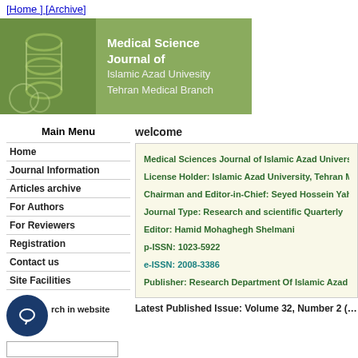[Home ] [Archive]
[Figure (illustration): Banner with DNA image on left and journal title text on olive/green background]
Main Menu
Home
Journal Information
Articles archive
For Authors
For Reviewers
Registration
Contact us
Site Facilities
welcome
Medical Sciences Journal of Islamic Azad University,
License Holder: Islamic Azad University, Tehran Me
Chairman and Editor-in-Chief: Seyed Hossein Yahya
Journal Type: Research and scientific Quarterly
Editor: Hamid Mohaghegh Shelmani
p-ISSN: 1023-5922
e-ISSN: 2008-3386
Publisher: Research Department Of Islamic Azad Un
Latest Published Issue: Volume 32, Number 2 (su